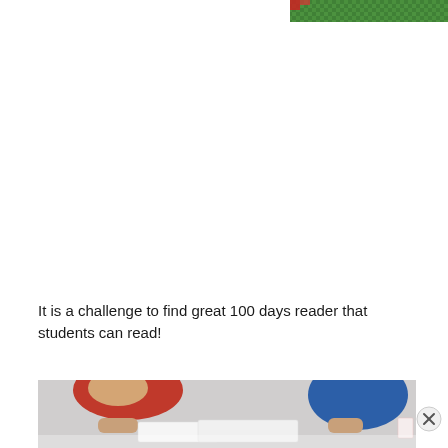[Figure (photo): Partial view of a colorful image at the top of the page, showing green and red elements, likely a holiday or school-themed decoration.]
It is a challenge to find great 100 days reader that students can read!
[Figure (photo): Photo of students working at a table, hands visible writing or doing an activity. Two students visible wearing red and blue clothing.]